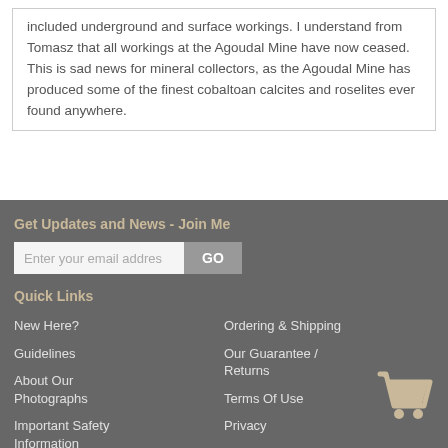included underground and surface workings. I understand from Tomasz that all workings at the Agoudal Mine have now ceased. This is sad news for mineral collectors, as the Agoudal Mine has produced some of the finest cobaltoan calcites and roselites ever found anywhere.
Get Updates and News - Join Me
Enter your email address  GO
Quick Links
New Here?
Ordering & Shipping
Guidelines
Our Guarantee / Returns
About Our Photographs
Terms Of Use
Important Safety Information
Privacy
Mineral Localities
[Figure (illustration): Shopping cart icon in tan/beige color]